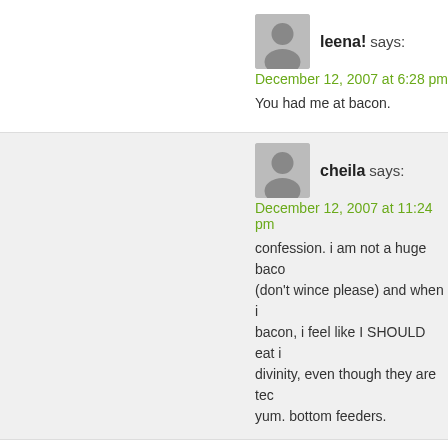leena! says: December 12, 2007 at 6:28 pm — You had me at bacon.
cheila says: December 12, 2007 at 11:24 pm — confession. i am not a huge bacon (don't wince please) and when i bacon, i feel like I SHOULD eat it divinity, even though they are tec yum. bottom feeders.
Amanda says: December 13, 2007 at 3:15 pm — Thanks melissa!